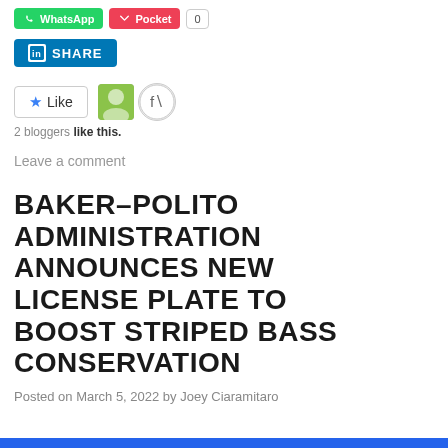[Figure (screenshot): Social share buttons: WhatsApp, Pocket, and a number badge at top of page]
[Figure (screenshot): LinkedIn SHARE button in blue]
[Figure (screenshot): Like button with star icon and two blogger avatars]
2 bloggers like this.
Leave a comment
BAKER-POLITO ADMINISTRATION ANNOUNCES NEW LICENSE PLATE TO BOOST STRIPED BASS CONSERVATION
Posted on March 5, 2022 by Joey Ciaramitaro